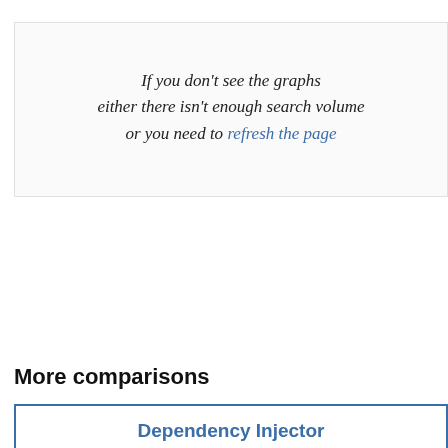If you don't see the graphs either there isn't enough search volume or you need to refresh the page
More comparisons
Dependency Injector